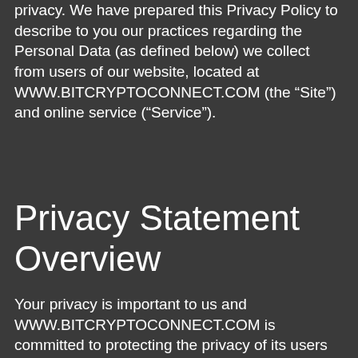privacy. We have prepared this Privacy Policy to describe to you our practices regarding the Personal Data (as defined below) we collect from users of our website, located at WWW.BITCRYPTOCONNECT.COM (the “Site”) and online service (“Service”).
Privacy Statement Overview
Your privacy is important to us and WWW.BITCRYPTOCONNECT.COM is committed to protecting the privacy of its users and the